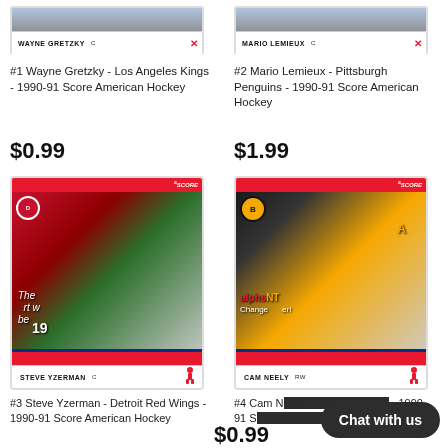[Figure (photo): Partial hockey card showing Wayne Gretzky - Los Angeles Kings, 1990-91 Score American Hockey card (top portion visible)]
[Figure (photo): Partial hockey card showing Mario Lemieux - Pittsburgh Penguins, 1990-91 Score American Hockey card (top portion visible)]
#1 Wayne Gretzky - Los Angeles Kings - 1990-91 Score American Hockey
#2 Mario Lemieux - Pittsburgh Penguins - 1990-91 Score American Hockey
$0.99
$1.99
[Figure (photo): Full hockey card showing Steve Yzerman - Detroit Red Wings, 1990-91 Score American Hockey card, player in red uniform skating]
[Figure (photo): Full hockey card showing Cam Neely - Boston Bruins, 1990-91 Score American Hockey card, player in black uniform skating]
#3 Steve Yzerman - Detroit Red Wings - 1990-91 Score American Hockey
#4 Cam N... - 1990-91 S... ...ey
$0.99